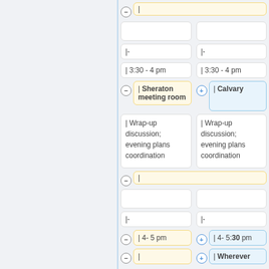[Figure (screenshot): Calendar or scheduling interface showing two columns of event/time cells with control buttons (minus/plus), including cells with times like 3:30-4pm, locations Sheraton meeting room and Calvary, wrap-up discussion content, 4-5pm slots, and Wherever location.]